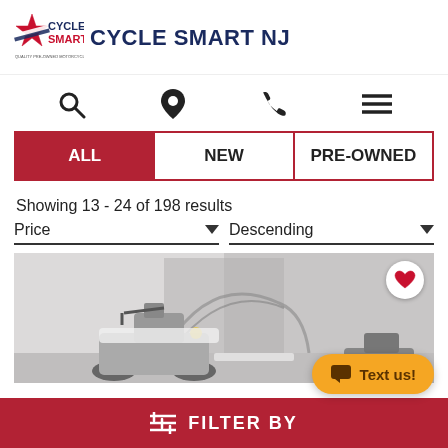[Figure (logo): Cycle Smart logo with red star and text CYCLE SMART QUALITY PRE-OWNED MOTORCYCLES]
CYCLE SMART NJ
[Figure (infographic): Navigation icons: search magnifying glass, location pin, phone, hamburger menu]
ALL | NEW | PRE-OWNED tab bar with ALL selected in red
Showing 13 - 24 of 198 results
Price ▾   Descending ▾
[Figure (photo): Interior photo of motorcycle dealership showing motorcycles parked in showroom with white brick walls]
FILTER BY
Text us!